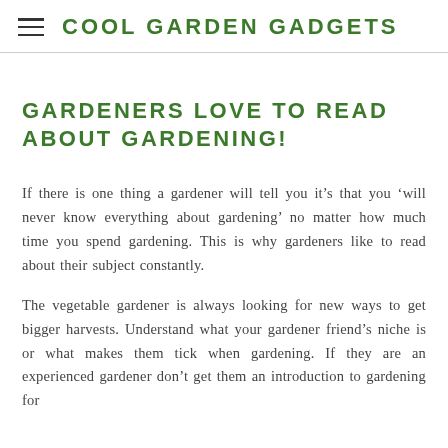COOL GARDEN GADGETS
GARDENERS LOVE TO READ ABOUT GARDENING!
If there is one thing a gardener will tell you it’s that you ‘will never know everything about gardening’ no matter how much time you spend gardening. This is why gardeners like to read about their subject constantly.
The vegetable gardener is always looking for new ways to get bigger harvests. Understand what your gardener friend’s niche is or what makes them tick when gardening. If they are an experienced gardener don’t get them an introduction to gardening for